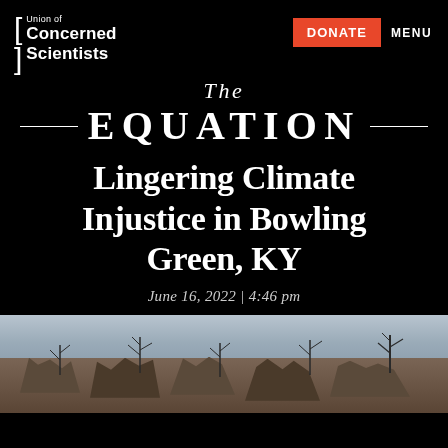Union of Concerned Scientists | DONATE | MENU
The EQUATION
Lingering Climate Injustice in Bowling Green, KY
June 16, 2022 | 4:46 pm
[Figure (photo): Photograph of tornado-damaged houses with broken and missing roof sections, bare trees silhouetted against a grey overcast sky, depicting storm destruction in Bowling Green, KY]